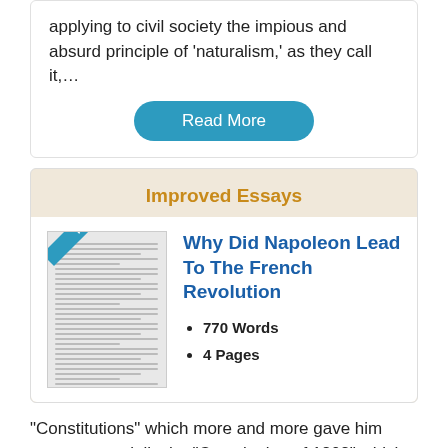applying to civil society the impious and absurd principle of ‘naturalism,’ as they call it,…
Read More
Improved Essays
[Figure (illustration): Preview thumbnail of an essay document with a blue 'Preview' banner across the top-left corner]
Why Did Napoleon Lead To The French Revolution
770 Words
4 Pages
“Constitutions” which more and more gave him power, especially the “Constitution of 1802” which gave him office for life. While also giving him the power to elect his successor which ultimately would eventually be someone from his bloodline. Napoleon